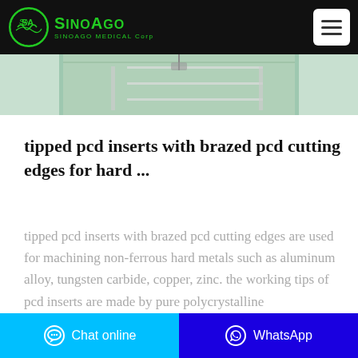SinoAgo Medical Corp
[Figure (photo): Partial view of a medical or industrial facility with green walls and wire shelving/equipment]
tipped pcd inserts with brazed pcd cutting edges for hard ...
tipped pcd inserts with brazed pcd cutting edges are used for machining non-ferrous hard metals such as aluminum alloy, tungsten carbide, copper, zinc. the working tips of pcd inserts are made by pure polycrystalline
Chat online | WhatsApp